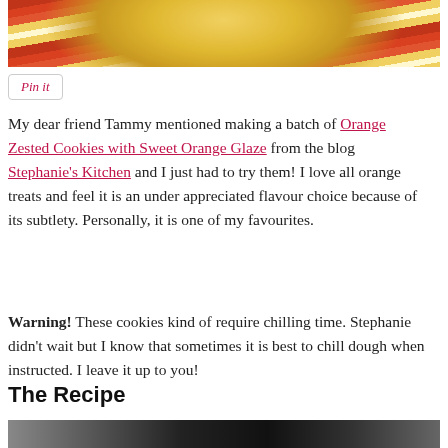[Figure (photo): Top portion of a yellow/orange bowl on a striped red and yellow cloth, cropped at top]
[Figure (other): Pin it button with italic pink text and gray border]
My dear friend Tammy mentioned making a batch of Orange Zested Cookies with Sweet Orange Glaze from the blog Stephanie's Kitchen and I just had to try them! I love all orange treats and feel it is an under appreciated flavour choice because of its subtlety. Personally, it is one of my favourites.
Warning! These cookies kind of require chilling time. Stephanie didn't wait but I know that sometimes it is best to chill dough when instructed. I leave it up to you!
The Recipe
[Figure (photo): Bottom partial photo showing dark kitchen equipment, partially cut off at page bottom]